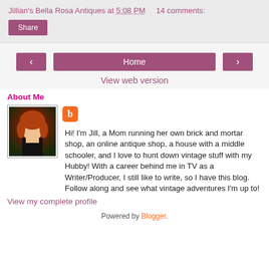Jillian's Bella Rosa Antiques at 5:08 PM    14 comments:
Share
< Home >
View web version
About Me
[Figure (photo): Profile photo of a woman with red hair]
Hi! I'm Jill, a Mom running her own brick and mortar shop, an online antique shop, a house with a middle schooler, and I love to hunt down vintage stuff with my Hubby! With a career behind me in TV as a Writer/Producer, I still like to write, so I have this blog. Follow along and see what vintage adventures I'm up to!
View my complete profile
Powered by Blogger.